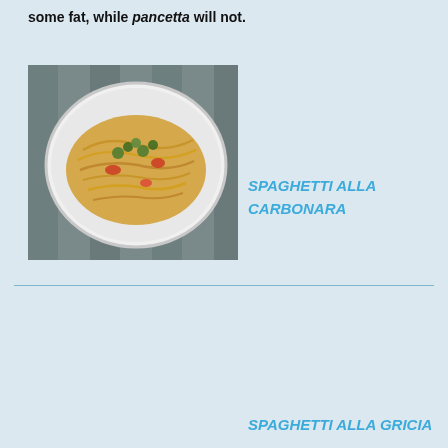some fat, while pancetta will not.
[Figure (photo): A plate of spaghetti pasta with herbs, tomatoes and sauce on a wooden table background]
SPAGHETTI ALLA CARBONARA
SPAGHETTI ALLA GRICIA